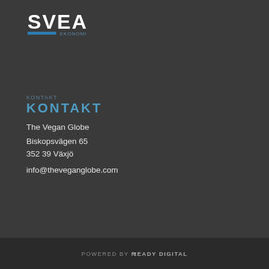[Figure (logo): SVEA logo — bold white/blue text 'SVEA' with a horizontal blue bar beneath, on dark background]
KONTAKT
The Vegan Globe
Biskopsvägen 65
352 39 Växjö
info@theveganglobe.com
POWERED BY READY DIGITAL